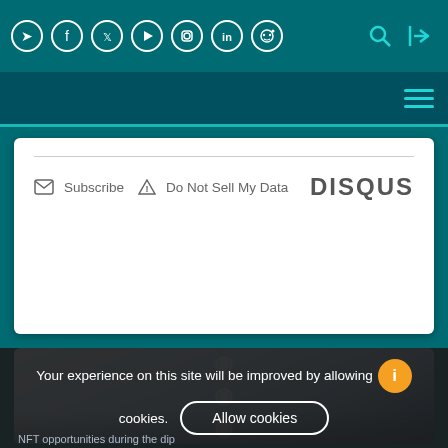[Figure (screenshot): Top navigation bar with social media icons (Telegram, Facebook, Twitter, YouTube, Instagram, LinkedIn, Reddit) on teal background, with search and login icons on right]
[Figure (screenshot): Secondary navigation bar with hamburger menu icon in teal/cyan color]
[Figure (screenshot): Disqus comment widget area with Subscribe and Do Not Sell My Data options and DISQUS branding]
[Figure (screenshot): Light blue image card with three water droplet dots in a column]
Your experience on this site will be improved by allowing cookies.
Allow cookies
NFT opportunities during the dip